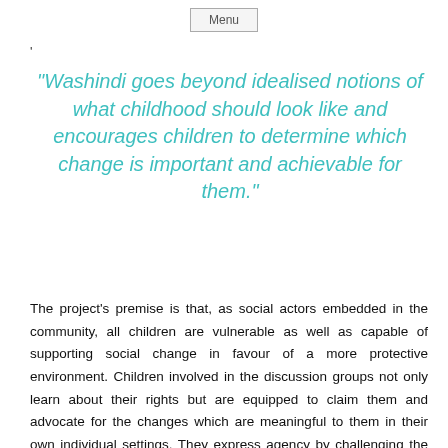Menu
‘
“Washindi goes beyond idealised notions of what childhood should look like and encourages children to determine which change is important and achievable for them.”
The project's premise is that, as social actors embedded in the community, all children are vulnerable as well as capable of supporting social change in favour of a more protective environment. Children involved in the discussion groups not only learn about their rights but are equipped to claim them and advocate for the changes which are meaningful to them in their own individual settings. They express agency by challenging the power